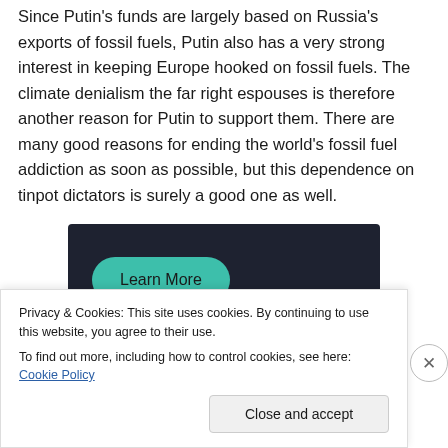Since Putin's funds are largely based on Russia's exports of fossil fuels, Putin also has a very strong interest in keeping Europe hooked on fossil fuels. The climate denialism the far right espouses is therefore another reason for Putin to support them. There are many good reasons for ending the world's fossil fuel addiction as soon as possible, but this dependence on tinpot dictators is surely a good one as well.
[Figure (other): Dark advertisement banner with a teal 'Learn More' button on the left side]
Privacy & Cookies: This site uses cookies. By continuing to use this website, you agree to their use.
To find out more, including how to control cookies, see here: Cookie Policy
Close and accept